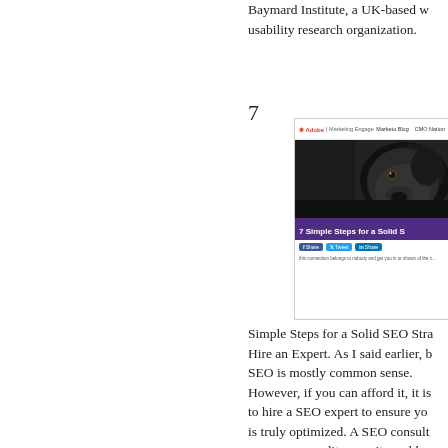Baymard Institute, a UK-based web usability research organization.
7
[Figure (screenshot): Screenshot of an Adobe Marketing blog article titled '7 Simple Steps for a Solid S...' featuring a black Labrador dog photo, social share buttons (Facebook, Twitter, LinkedIn), and introductory article text.]
Simple Steps for a Solid SEO Stra... Hire an Expert. As I said earlier, b... SEO is mostly common sense. However, if you can afford it, it is... to hire a SEO expert to ensure yo... is truly optimized. A SEO consult... agency can audit your site and lo... how it is performing against your... important keywords. They will p... you with a prioritized list of actio... to help you take your site to the n... level. M...